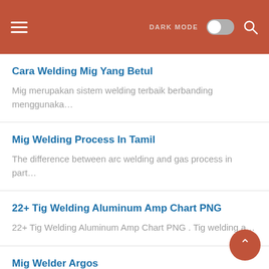DARK MODE [toggle] [search]
Cara Welding Mig Yang Betul
Mig merupakan sistem welding terbaik berbanding menggunaka…
Mig Welding Process In Tamil
The difference between arc welding and gas process in part…
22+ Tig Welding Aluminum Amp Chart PNG
22+ Tig Welding Aluminum Amp Chart PNG . Tig welding a…
Mig Welder Argos
Athlon argos btr 14x24 ffp rifle scope. Timken bearing mac…